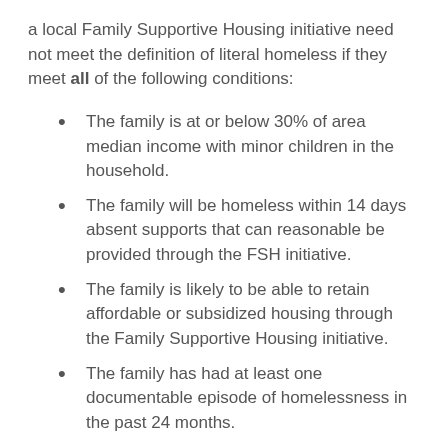a local Family Supportive Housing initiative need not meet the definition of literal homeless if they meet all of the following conditions:
The family is at or below 30% of area median income with minor children in the household.
The family will be homeless within 14 days absent supports that can reasonable be provided through the FSH initiative.
The family is likely to be able to retain affordable or subsidized housing through the Family Supportive Housing initiative.
The family has had at least one documentable episode of homelessness in the past 24 months.